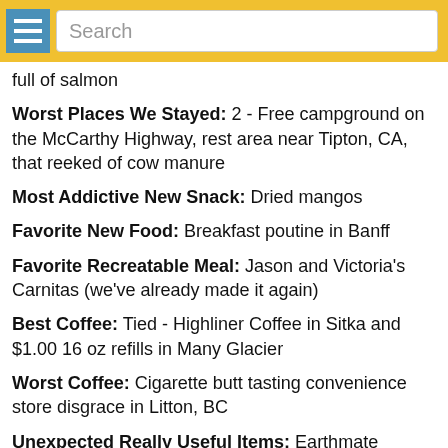Search
full of salmon
Worst Places We Stayed: 2 - Free campground on the McCarthy Highway, rest area near Tipton, CA, that reeked of cow manure
Most Addictive New Snack: Dried mangos
Favorite New Food: Breakfast poutine in Banff
Favorite Recreatable Meal: Jason and Victoria's Carnitas (we've already made it again)
Best Coffee: Tied - Highliner Coffee in Sitka and $1.00 16 oz refills in Many Glacier
Worst Coffee: Cigarette butt tasting convenience store disgrace in Litton, BC
Unexpected Really Useful Items: Earthmate iPhone app from DeLorme (used for hiking), Camp towels (makeshift additional curtains to battle the endless northern summer days)
Most Valuable Players: Water bottles (Hydro Flasks and